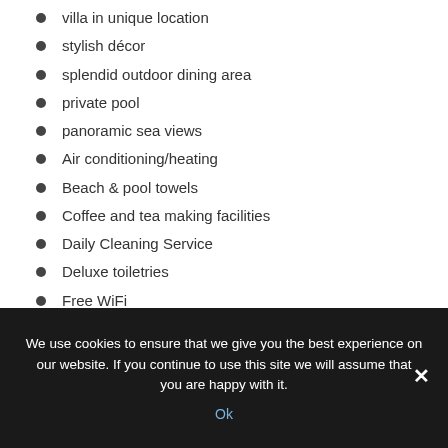villa in unique location
stylish décor
splendid outdoor dining area
private pool
panoramic sea views
Air conditioning/heating
Beach & pool towels
Coffee and tea making facilities
Daily Cleaning Service
Deluxe toiletries
Free WiFi
Fully equipped kitchen
Hairdryer
Iron/ironing board
We use cookies to ensure that we give you the best experience on our website. If you continue to use this site we will assume that you are happy with it.
Ok